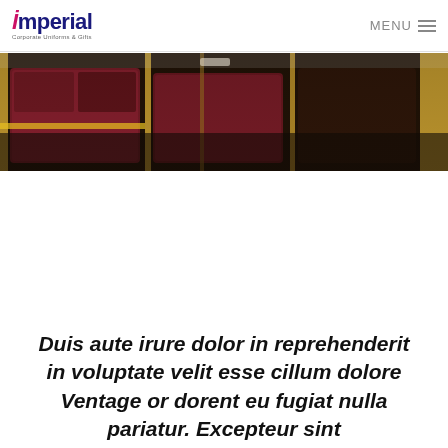Imperial Corporate Uniforms & Gifts — MENU
[Figure (photo): A dark interior photo showing what appears to be theater or auditorium seating with maroon/burgundy upholstery and wooden frames, viewed from above at an angle.]
Duis aute irure dolor in reprehenderit in voluptate velit esse cillum dolore Ventage or dorent eu fugiat nulla pariatur. Excepteur sint